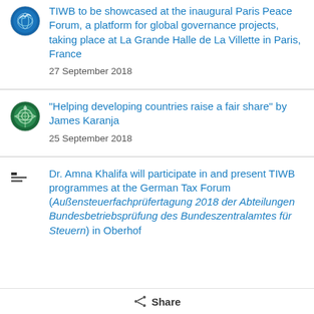[Figure (logo): TIWB circular logo with blue bird/globe icon]
TIWB to be showcased at the inaugural Paris Peace Forum, a platform for global governance projects, taking place at La Grande Halle de La Villette in Paris, France
27 September 2018
[Figure (logo): Circular logo with blue/green design, possibly UN or OECD related]
"Helping developing countries raise a fair share" by James Karanja
25 September 2018
[Figure (logo): Small German government / Bundeszentralamt logo]
Dr. Amna Khalifa will participate in and present TIWB programmes at the German Tax Forum (Außensteuerfachprüfertagung 2018 der Abteilungen Bundesbetriebsprüfung des Bundeszentralamtes für Steuern) in Oberhof
Share